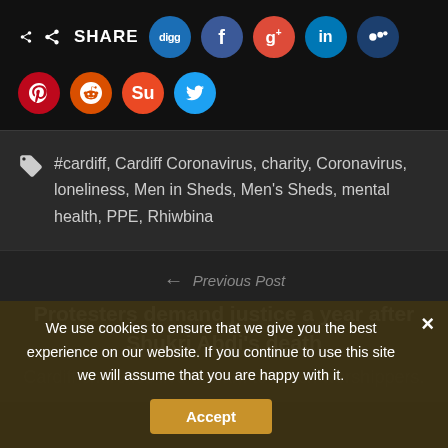[Figure (infographic): Social media share bar with icons: SHARE label, Digg, Facebook, Google+, LinkedIn, MySpace (top row); Pinterest, Reddit, StumbleUpon, Twitter (bottom row)]
#cardiff, Cardiff Coronavirus, charity, Coronavirus, loneliness, Men in Sheds, Men's Sheds, mental health, PPE, Rhiwbina
← Previous Post
Protesters demand justice a year after Shukri Abdi's death
Cardiff churches live-stream to reach worshippers.
We use cookies to ensure that we give you the best experience on our website. If you continue to use this site we will assume that you are happy with it.
Accept